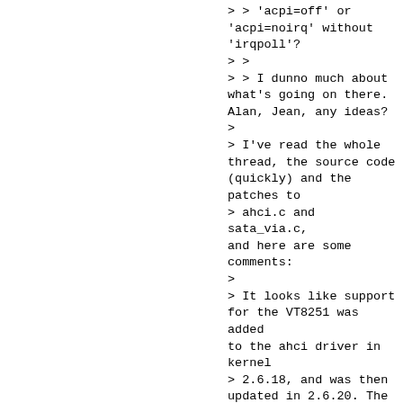> > 'acpi=off' or 'acpi=noirq' without 'irqpoll'?
> >
> > I dunno much about what's going on there. Alan, Jean, any ideas?
>
> I've read the whole thread, the source code (quickly) and the patches to
> ahci.c and sata_via.c, and here are some comments:
>
> It looks like support for the VT8251 was added to the ahci driver in kernel
> 2.6.18, and was then updated in 2.6.20. The code is different from the
> patch Leopold is using with 2.6.16. As I am not an expert in this area, I
> can't tell whether both versions are